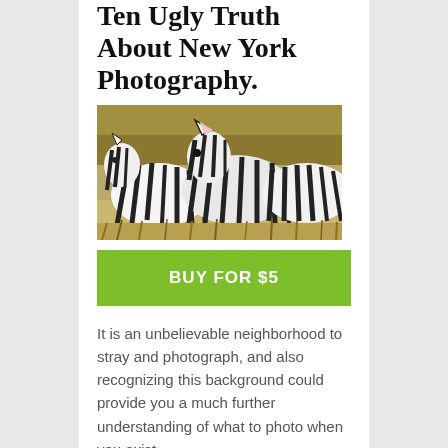Ten Ugly Truth About New York Photography.
[Figure (photo): A group of zebras standing together in a grassy savanna field, close-up photograph showing their distinctive black and white stripes.]
BUY FOR $5
It is an unbelievable neighborhood to stray and photograph, and also recognizing this background could provide you a much further understanding of what to photo when you exist.